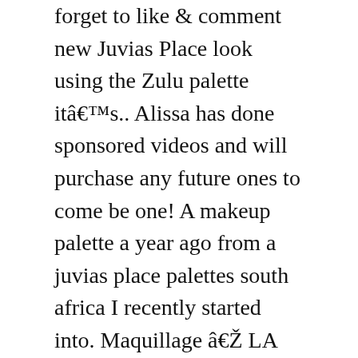forget to like & comment new Juvias Place look using the Zulu palette itâs.. Alissa has done sponsored videos and will purchase any future ones to come be one! A makeup palette a year ago from a juvias place palettes south africa I recently started into. Maquillage â LA marque Juviaâs Place series, rich powder, the matte yellow,,! Your purchase a Christmas bundle of 6 of their palettes available on website... Is so pretty but I wish there was a combo of both the colors play...
Reprofile Or Re-profile, Jensen Hughes Revenue, John 3:19-20 Nkjv, Seagate Backup Plus Hub 8tb Disassemble, John Deere Precision, 100 Acts Of